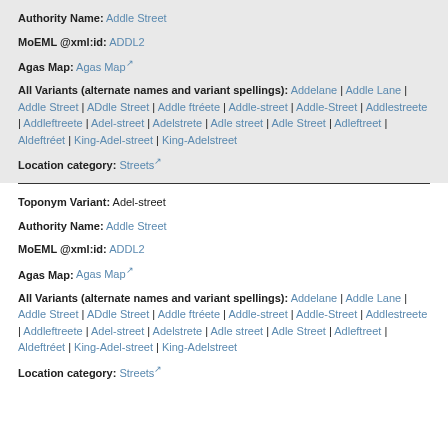Authority Name: Addle Street
MoEML @xml:id: ADDL2
Agas Map: Agas Map
All Variants (alternate names and variant spellings): Addelane | Addle Lane | Addle Street | ADdle Street | Addle ftréete | Addle-street | Addle-Street | Addlestreete | Addleftreete | Adel-street | Adelstrete | Adle street | Adle Street | Adleftreet | Aldeftréet | King-Adel-street | King-Adelstreet
Location category: Streets
Toponym Variant: Adel-street
Authority Name: Addle Street
MoEML @xml:id: ADDL2
Agas Map: Agas Map
All Variants (alternate names and variant spellings): Addelane | Addle Lane | Addle Street | ADdle Street | Addle ftréete | Addle-street | Addle-Street | Addlestreete | Addleftreete | Adel-street | Adelstrete | Adle street | Adle Street | Adleftreet | Aldeftréet | King-Adel-street | King-Adelstreet
Location category: Streets